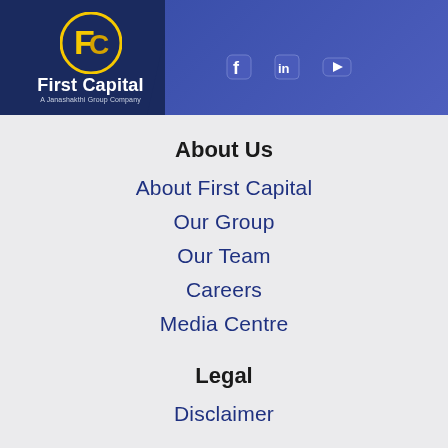[Figure (logo): First Capital – A Janashakthi Group Company logo with yellow FC monogram in a circle on dark blue background]
About Us
About First Capital
Our Group
Our Team
Careers
Media Centre
Legal
Disclaimer
Download Now